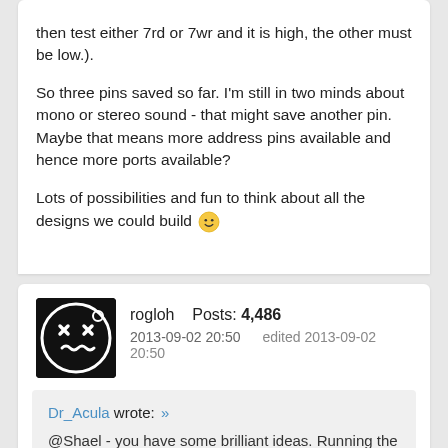then test either 7rd or 7wr and it is high, the other must be low.).
So three pins saved so far. I'm still in two minds about mono or stereo sound - that might save another pin. Maybe that means more address pins available and hence more ports available?
Lots of possibilities and fun to think about all the designs we could build 🙂
rogloh   Posts: 4,486
2013-09-02 20:50   edited 2013-09-02 20:50
Dr_Acula wrote: »
@Shael - you have some brilliant ideas. Running the whole thing at lower voltage. Booting with less chips. I'm having trouble keeping up!